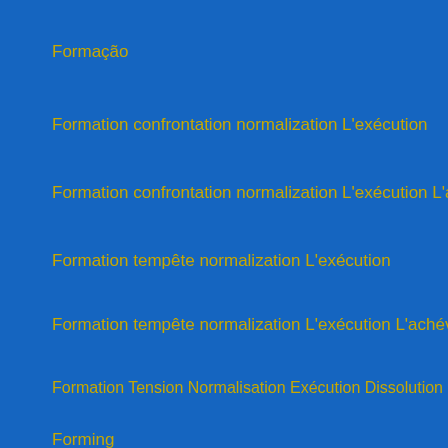Formação
Formation confrontation normalization L'exécution
Formation confrontation normalization L'exécution L'achévement
Formation tempête normalization L'exécution
Formation tempête normalization L'exécution L'achévement
Formation Tension Normalisation Exécution Dissolution
Forming
Forming
Forming Phase